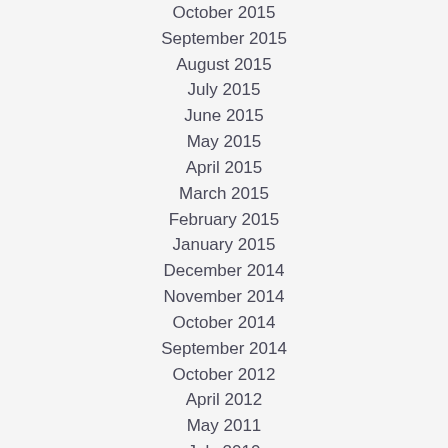October 2015
September 2015
August 2015
July 2015
June 2015
May 2015
April 2015
March 2015
February 2015
January 2015
December 2014
November 2014
October 2014
September 2014
October 2012
April 2012
May 2011
July 2010
December 2008
April 2008
March 2007